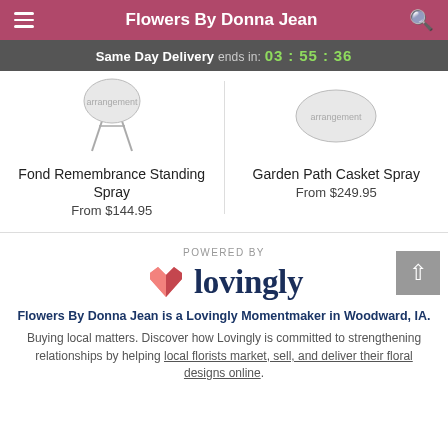Flowers By Donna Jean
Same Day Delivery ends in: 03 : 55 : 36
[Figure (illustration): Floral standing spray arrangement sketch]
Fond Remembrance Standing Spray
From $144.95
[Figure (illustration): Garden Path Casket Spray sketch]
Garden Path Casket Spray
From $249.95
[Figure (logo): Powered by Lovingly logo with heart icon]
Flowers By Donna Jean is a Lovingly Momentmaker in Woodward, IA.
Buying local matters. Discover how Lovingly is committed to strengthening relationships by helping local florists market, sell, and deliver their floral designs online.